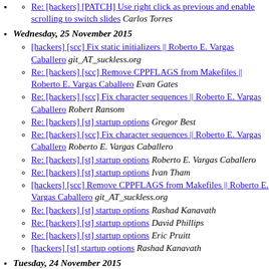Re: [hackers] [PATCH] Use right click as previous and enable scrolling to switch slides Carlos Torres
Wednesday, 25 November 2015
[hackers] [scc] Fix static initializers || Roberto E. Vargas Caballero git_AT_suckless.org
Re: [hackers] [scc] Remove CPPFLAGS from Makefiles || Roberto E. Vargas Caballero Evan Gates
Re: [hackers] [scc] Fix character sequences || Roberto E. Vargas Caballero Robert Ransom
Re: [hackers] [st] startup options Gregor Best
Re: [hackers] [scc] Fix character sequences || Roberto E. Vargas Caballero Roberto E. Vargas Caballero
Re: [hackers] [st] startup options Roberto E. Vargas Caballero
Re: [hackers] [st] startup options Ivan Tham
[hackers] [scc] Remove CPPFLAGS from Makefiles || Roberto E. Vargas Caballero git_AT_suckless.org
Re: [hackers] [st] startup options Rashad Kanavath
Re: [hackers] [st] startup options David Phillips
Re: [hackers] [st] startup options Eric Pruitt
[hackers] [st] startup options Rashad Kanavath
Tuesday, 24 November 2015
[hackers] [surf] Fix clickexternplayer(), no need to test the target again || Quentin Rameau git_AT_suckless.org
Re: [hackers] [surf] Fix clickexternplayer()...